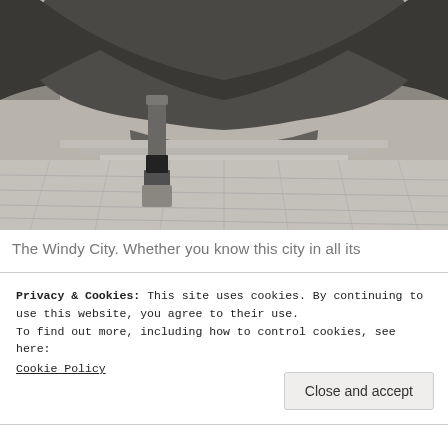[Figure (photo): Photo of the Cloud Gate sculpture (The Bean) in Chicago's Millennium Park, shot from ground level showing the reflective metallic underside of the sculpture, stone plaza tiles, a bollard post, and city buildings reflected in the background. Black and white / desaturated tones.]
The Windy City. Whether you know this city in all its
Privacy & Cookies: This site uses cookies. By continuing to use this website, you agree to their use.
To find out more, including how to control cookies, see here:
Cookie Policy
Close and accept